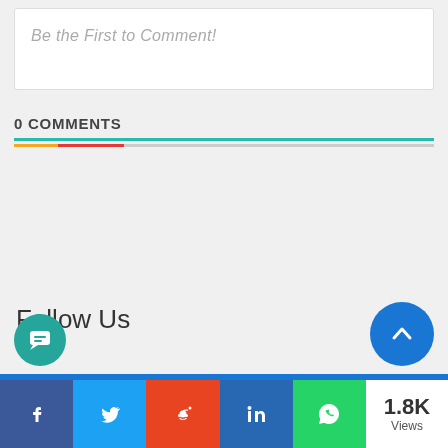Be the First to Comment!
0 COMMENTS
Follow Us
1.8K Views